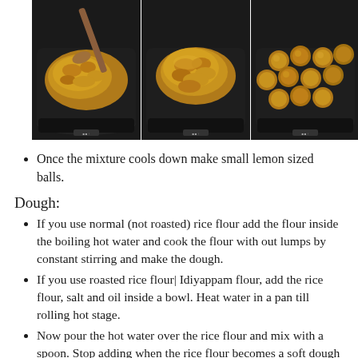[Figure (photo): Three cooking step photos showing: (1) a golden-brown cooked mixture in a dark pan being stirred with a wooden spoon, (2) the same mixture clumped together in the pan, (3) small round balls of the mixture arranged in the dark pan.]
Once the mixture cools down make small lemon sized balls.
Dough:
If you use normal (not roasted) rice flour add the flour inside the boiling hot water and cook the flour with out lumps by constant stirring and make the dough.
If you use roasted rice flour| Idiyappam flour, add the rice flour, salt and oil inside a bowl. Heat water in a pan till rolling hot stage.
Now pour the hot water over the rice flour and mix with a spoon. Stop adding when the rice flour becomes a soft dough stage. Knead to make a soft dough.